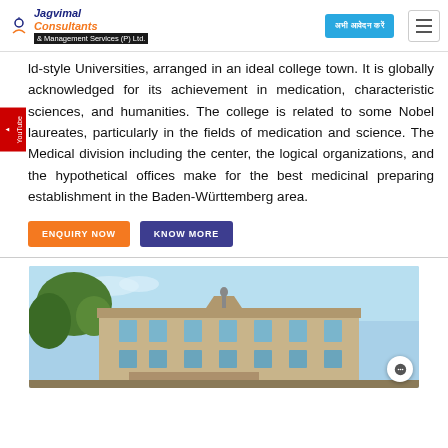Jagvimal Consultants & Management Services (P) Ltd.
ld-style Universities, arranged in an ideal college town. It is globally acknowledged for its achievement in medication, characteristic sciences, and humanities. The college is related to some Nobel laureates, particularly in the fields of medication and science. The Medical division including the center, the logical organizations, and the hypothetical offices make for the best medicinal preparing establishment in the Baden-Württemberg area.
ENQUIRY NOW   KNOW MORE
[Figure (photo): Exterior view of a historic European university building with a statue on top, tree branches in the foreground, and blue sky background.]